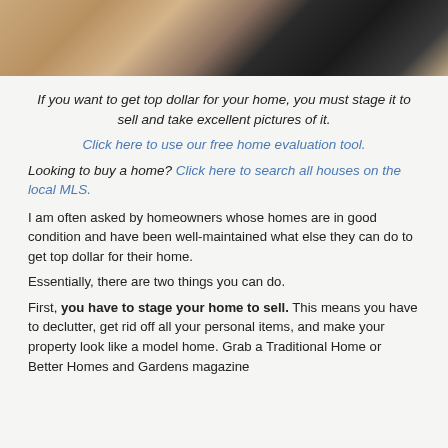[Figure (photo): Top portion of a photo showing a person in a black top standing in what appears to be a kitchen with light-colored cabinetry and countertops]
If you want to get top dollar for your home, you must stage it to sell and take excellent pictures of it.
Click here to use our free home evaluation tool.
Looking to buy a home? Click here to search all houses on the local MLS.
I am often asked by homeowners whose homes are in good condition and have been well-maintained what else they can do to get top dollar for their home.
Essentially, there are two things you can do.
First, you have to stage your home to sell. This means you have to declutter, get rid off all your personal items, and make your property look like a model home. Grab a Traditional Home or Better Homes and Gardens magazine